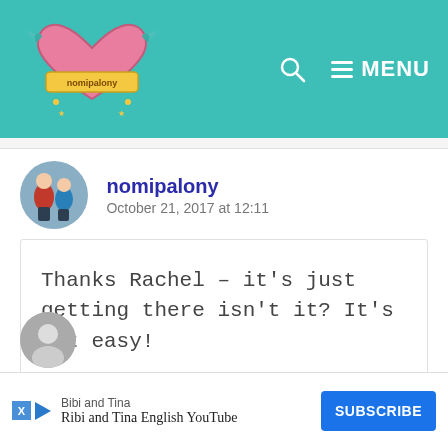nomipalony blog header with logo and MENU navigation
nomipalony
October 21, 2017 at 12:11
Thanks Rachel – it's just getting there isn't it? It's not easy!
Reply
[Figure (photo): Small circular avatar photo of nomipalony showing two children]
[Figure (photo): Partially visible circular avatar at bottom of page]
Bibi and Tina
Ribi and Tina English YouTube
SUBSCRIBE